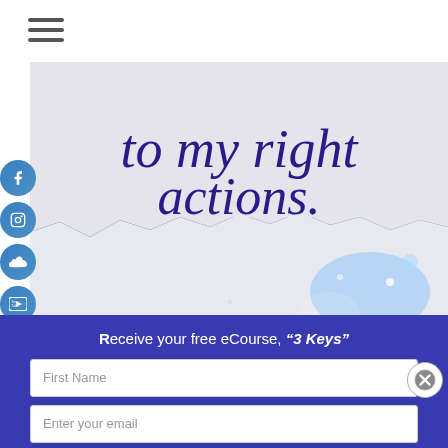[Figure (screenshot): Website screenshot showing a handwritten script text 'to my right actions.' in dark blue cursive on a light background, with a blue cosmic/galaxy design at the bottom, and spiritsourceconnect.com watermark. Left side shows social media icons (Facebook, Instagram, SoundCloud, YouTube, Twitter).]
Receive your free eCourse, "3 Keys"
Staying away from environments that are feeling hostile and
take to your own personal empowerment
First Name
Enter your email
Submit